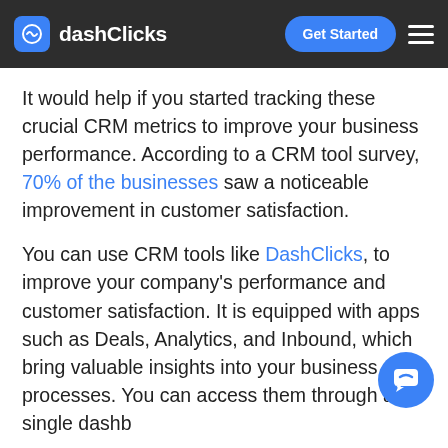dashClicks | Get Started
It would help if you started tracking these crucial CRM metrics to improve your business performance. According to a CRM tool survey, 70% of the businesses saw a noticeable improvement in customer satisfaction.
You can use CRM tools like DashClicks, to improve your company's performance and customer satisfaction. It is equipped with apps such as Deals, Analytics, and Inbound, which bring valuable insights into your business processes. You can access them through a single dashboard.
Sign up for the DashClicks white-label platform for